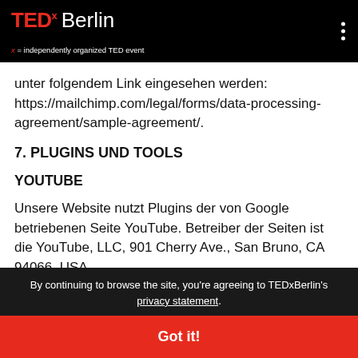TEDx Berlin — x = independently organized TED event
unter folgendem Link eingesehen werden: https://mailchimp.com/legal/forms/data-processing-agreement/sample-agreement/.
7. PLUGINS UND TOOLS
YOUTUBE
Unsere Website nutzt Plugins der von Google betriebenen Seite YouTube. Betreiber der Seiten ist die YouTube, LLC, 901 Cherry Ave., San Bruno, CA 94066, USA.
By continuing to browse the site, you're agreeing to TEDxBerlin's privacy statement.
Got it!